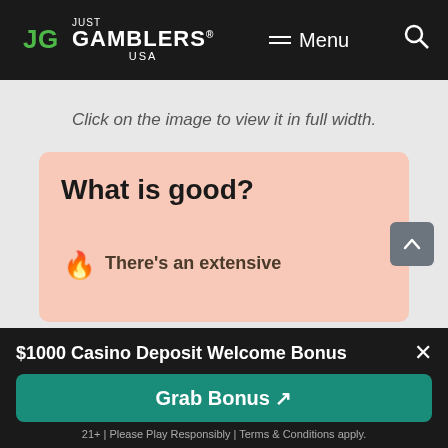JG JUST GAMBLERS® USA  ≡ Menu  🔍
Click on the image to view it in full width.
What is good?
🔥 There's an extensive
$1000 Casino Deposit Welcome Bonus
Grab Bonus ↗
21+ | Please Play Responsibly | Terms & Conditions apply.